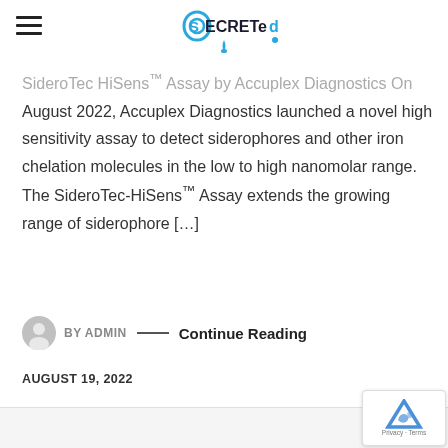SECRETed
SideroTec HiSens™ Assay by Accuplex Diagnostics On August 2022, Accuplex Diagnostics launched a novel high sensitivity assay to detect siderophores and other iron chelation molecules in the low to high nanomolar range. The SideroTec-HiSens™ Assay extends the growing range of siderophore […]
BY ADMIN — Continue Reading
AUGUST 19, 2022